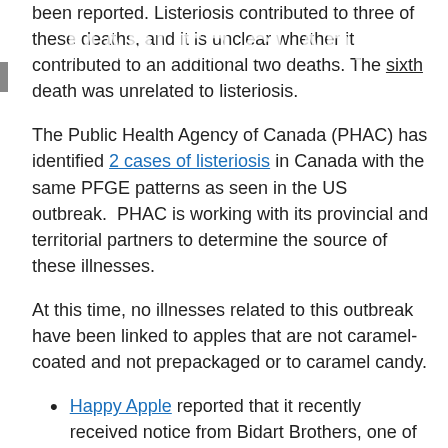been reported. Listeriosis contributed to three of these deaths, and it is unclear whether it contributed to an additional two deaths. The sixth death was unrelated to listeriosis.
The Public Health Agency of Canada (PHAC) has identified 2 cases of listeriosis in Canada with the same PFGE patterns as seen in the US outbreak.  PHAC is working with its provincial and territorial partners to determine the source of these illnesses.
At this time, no illnesses related to this outbreak have been linked to apples that are not caramel-coated and not prepackaged or to caramel candy.
Happy Apple reported that it recently received notice from Bidart Brothers, one of its apple suppliers to the Orosi California facility, that there